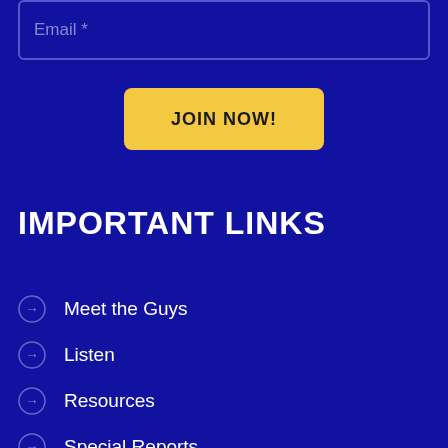Email *
JOIN NOW!
IMPORTANT LINKS
Meet the Guys
Listen
Resources
Special Reports
Events
Feedback